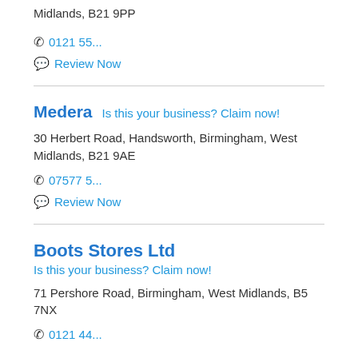Midlands, B21 9PP
0121 55...
Review Now
Medera   Is this your business? Claim now!
30 Herbert Road, Handsworth, Birmingham, West Midlands, B21 9AE
07577 5...
Review Now
Boots Stores Ltd
Is this your business? Claim now!
71 Pershore Road, Birmingham, West Midlands, B5 7NX
0121 44...